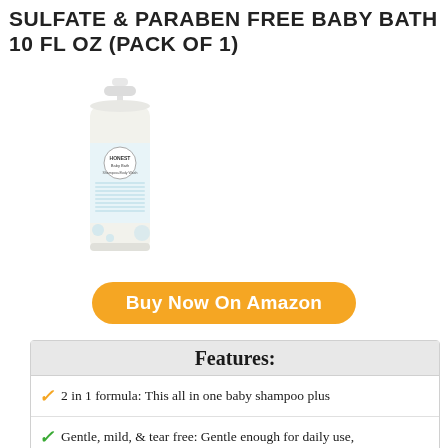SULFATE & PARABEN FREE BABY BATH 10 FL OZ (PACK OF 1)
[Figure (photo): Honest brand baby shampoo/wash bottle, white pump top, clear bottle with blue label]
Buy Now On Amazon
Features:
2 in 1 formula: This all in one baby shampoo plus
Gentle, mild, & tear free: Gentle enough for daily use,
Made without phthalates, parabens, dyes, synthetic
Dermatologist tested: Perfect for the whole family,
Honest purpose: We love your babies; That's why we